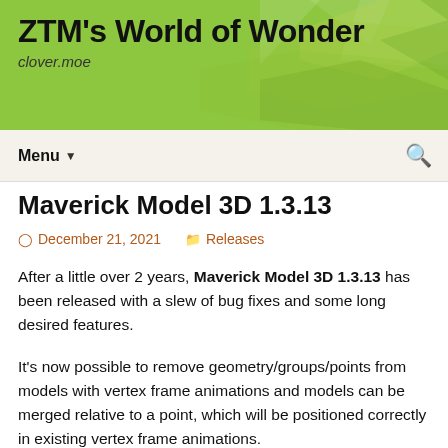ZTM's World of Wonder
clover.moe
Maverick Model 3D 1.3.13
December 21, 2021   Releases
After a little over 2 years, Maverick Model 3D 1.3.13 has been released with a slew of bug fixes and some long desired features.
It's now possible to remove geometry/groups/points from models with vertex frame animations and models can be merged relative to a point, which will be positioned correctly in existing vertex frame animations.